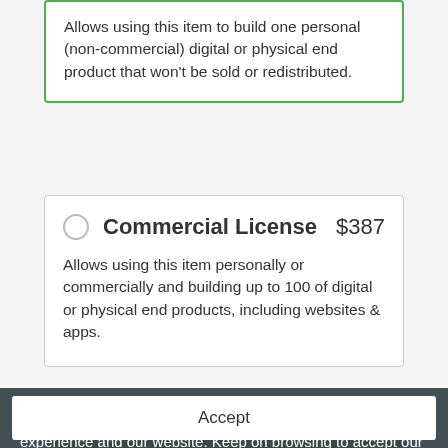Allows using this item to build one personal (non-commercial) digital or physical end product that won't be sold or redistributed.
Commercial License  $387
Allows using this item personally or commercially and building up to 100 of digital or physical end products, including websites & apps.
Add to Cart
For ...  H1 2020
Cre...
We're using our own and third-party cookies to improve your experience and our website. Keep on browsing to accept our cookie policy.
Accept